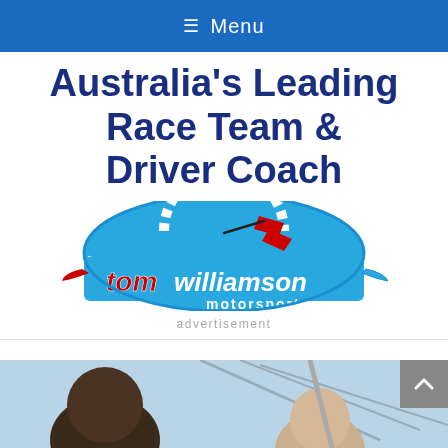≡ Menu
Australia's Leading Race Team & Driver Coach
[Figure (logo): Tom Williamson Motorsport logo — circular blue speedometer graphic with red accent, text 'tom williamson motorsport' in red and white italic lettering on blue background]
advertisement
[Figure (photo): Partial photo of people, cropped, at bottom of page — appears to show two individuals outdoors under a tent or canopy structure]